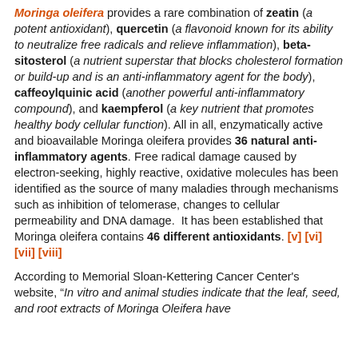Moringa oleifera provides a rare combination of zeatin (a potent antioxidant), quercetin (a flavonoid known for its ability to neutralize free radicals and relieve inflammation), beta-sitosterol (a nutrient superstar that blocks cholesterol formation or build-up and is an anti-inflammatory agent for the body), caffeoylquinic acid (another powerful anti-inflammatory compound), and kaempferol (a key nutrient that promotes healthy body cellular function). All in all, enzymatically active and bioavailable Moringa oleifera provides 36 natural anti-inflammatory agents. Free radical damage caused by electron-seeking, highly reactive, oxidative molecules has been identified as the source of many maladies through mechanisms such as inhibition of telomerase, changes to cellular permeability and DNA damage. It has been established that Moringa oleifera contains 46 different antioxidants. [v] [vi] [vii] [viii]
According to Memorial Sloan-Kettering Cancer Center's website, "In vitro and animal studies indicate that the leaf, seed, and root extracts of Moringa Oleifera have